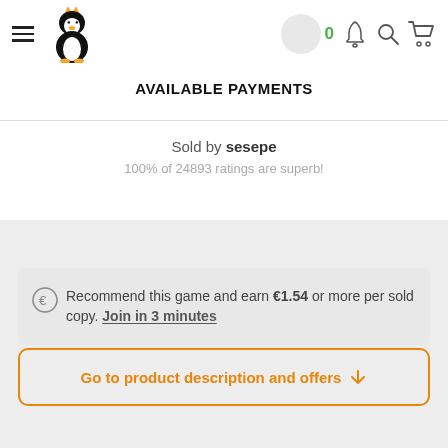Navigation header with hamburger menu, penguin logo, avatar circle, badge 0, bell, search, cart
AVAILABLE PAYMENTS
Sold by sesepe
100% of 24893 ratings are superb!
Recommend this game and earn €1.54 or more per sold copy. Join in 3 minutes
Go to product description and offers ↓